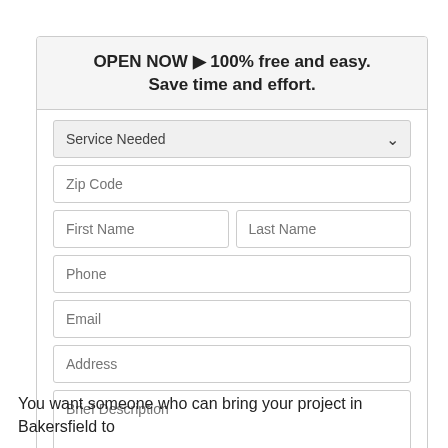OPEN NOW — 100% free and easy. Save time and effort.
[Figure (screenshot): A web form with fields: Service Needed (dropdown), Zip Code, First Name, Last Name, Phone, Email, Address, Brief Description, and a Get Free Quotes orange button. A reCAPTCHA badge overlaps the lower right.]
You want someone who can bring your project in Bakersfield to